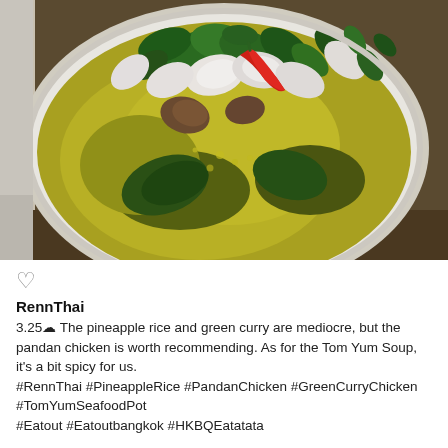[Figure (photo): Overhead photo of a white bowl containing Thai green curry soup with shrimp, green basil leaves, red chili pepper, and other vegetables in a yellow-green broth, on a dark wooden table.]
♡
RennThai
3.25☆ The pineapple rice and green curry are mediocre, but the pandan chicken is worth recommending. As for the Tom Yum Soup, it's a bit spicy for us.
#RennThai #PineappleRice #PandanChicken #GreenCurryChicken #TomYumSeafoodPot #Eatout #Eatoutbangkok #HKBQE...